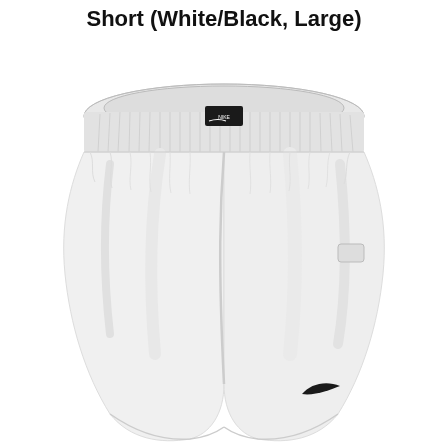Short (White/Black, Large)
[Figure (photo): Product photo of Nike athletic shorts in white with black Swoosh logo on lower right leg and a black Nike tag at the waistband. The shorts have an elastic waistband with gathered fabric and a clean, smooth fabric body.]